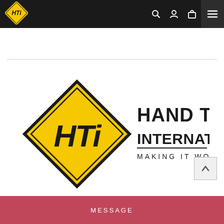[Figure (logo): HTI (Hand Tools International) navigation bar logo — yellow diamond with HTi text in black on dark background]
[Figure (logo): Hand Tools International large logo — yellow diamond shape with HTi lettering and text 'HAND TOOLS INTERNATIONAL / MAKING IT WORK!' in bold black]
MESSAGE